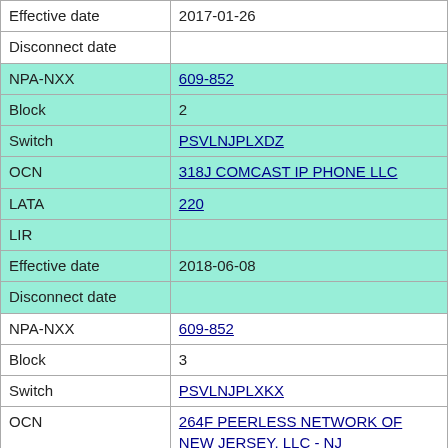| Field | Value |
| --- | --- |
| Effective date | 2017-01-26 |
| Disconnect date |  |
| NPA-NXX | 609-852 |
| Block | 2 |
| Switch | PSVLNJPLXDZ |
| OCN | 318J COMCAST IP PHONE LLC |
| LATA | 220 |
| LIR |  |
| Effective date | 2018-06-08 |
| Disconnect date |  |
| NPA-NXX | 609-852 |
| Block | 3 |
| Switch | PSVLNJPLXKX |
| OCN | 264F PEERLESS NETWORK OF NEW JERSEY, LLC - NJ |
| LATA | 220 |
| LIR |  |
| Effective date | 2020-02-27 |
| Disconnect date |  |
| NPA-NXX | 609-852 |
| Block | 4 |
| Switch | PSVLNJPLXRY |